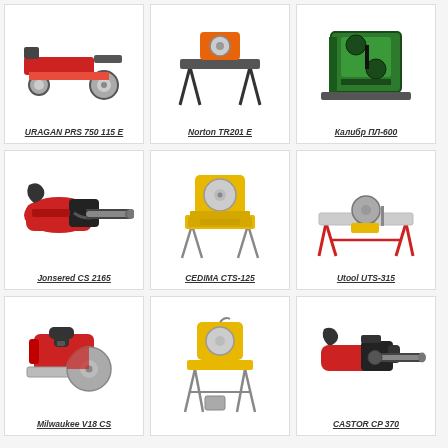[Figure (illustration): URAGAN PRS 750 115 E power saw tool]
URAGAN PRS 750 115 E
[Figure (illustration): Norton TR201 E tile saw on stand]
Norton TR201 E
[Figure (illustration): Калибр ПЛ-600 band saw]
Калибр ПЛ-600
[Figure (illustration): Jonsered CS 2165 red chainsaw]
Jonsered CS 2165
[Figure (illustration): CEDIMA CTS-125 yellow tile saw on stand]
CEDIMA CTS-125
[Figure (illustration): Utool UTS-315 table saw with red frame]
Utool UTS-315
[Figure (illustration): Milwaukee V18 CS red circular saw]
Milwaukee V18 CS
[Figure (illustration): Yellow tile saw on tall stand with water bucket]
[Figure (illustration): CASTOR CP 370 red chainsaw]
CASTOR CP 370